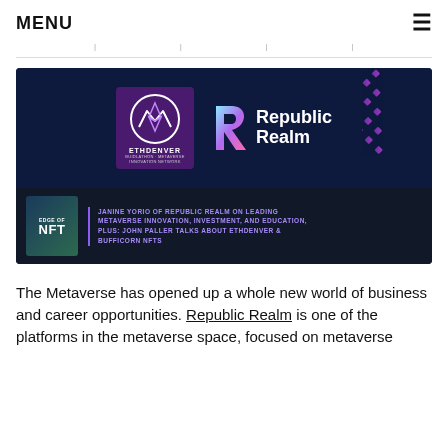MENU
[Figure (screenshot): Promotional banner image for a podcast episode. Dark navy background. Top half shows the ETHDenver logo (purple square with mountain/ethereum symbol) and Republic Realm logo (stylized R in pink/blue gradient with white text). Bottom half shows Edge of NFT podcast branding with text: JANINE YORIO OF REPUBLIC REALM ON LEADING METAVERSE INNOVATION, INVESTMENT, AND EDUCATION, PLUS: JOHN PALLER TALKS ABOUT ETHDENVER & BUFFICORN NFTS]
The Metaverse has opened up a whole new world of business and career opportunities. Republic Realm is one of the platforms in the metaverse space, focused on metaverse